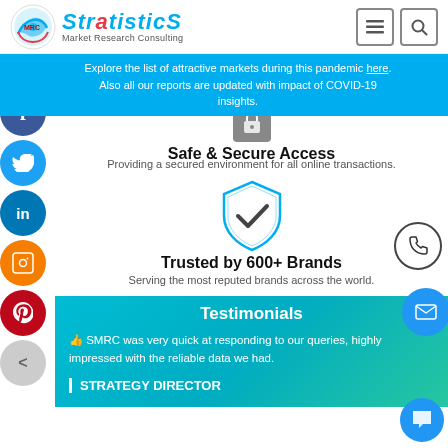Stratistics Market Research Consulting
Explore the list of attractive markets during this pandemic here. Also all our reports are updated with impact of COVID-19 insights.
Safe & Secure Access
Providing a secured environment for all online transactions.
[Figure (illustration): Shield with checkmark icon representing security]
Trusted by 600+ Brands
Serving the most reputed brands across the world.
Testimonials
SMRC was very quick at responding to our queries, highly impressed with the reliable data we had.
STRATEGY DIRECTOR